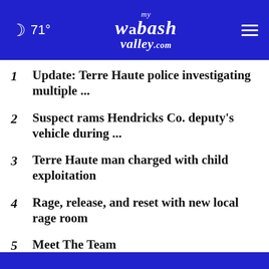71° mywabashvalley.com
1  Update: Terre Haute police investigating multiple ...
2  Suspect rams Hendricks Co. deputy's vehicle during ...
3  Terre Haute man charged with child exploitation
4  Rage, release, and reset with new local rage room
5  Meet The Team